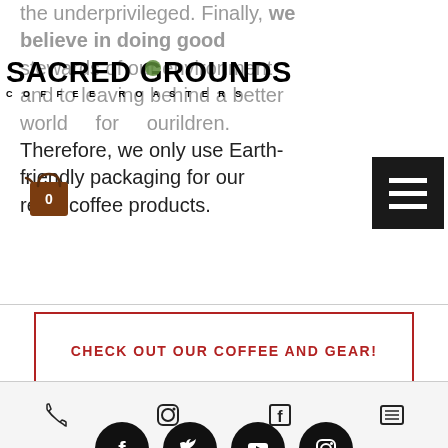[Figure (logo): Sacred Grounds Coffee Roasters logo with coffee bean in the O]
[Figure (illustration): Shopping cart icon with 0 badge]
[Figure (illustration): Hamburger menu icon (three horizontal lines on dark background)]
the underprivileged. Finally, we believe in doing good and being good stewards of our environment and to leaving behind a better world for our children. Therefore, we only use Earth-friendly packaging for our retail coffee products.
CHECK OUT OUR COFFEE AND GEAR!
[Figure (illustration): Social media icons row: Facebook, Twitter, YouTube, Instagram]
© 2015-2021 by Sacred Grounds Coffee Roasters, LLC
[Figure (illustration): Bottom navigation bar with phone, instagram, facebook, and menu icons]